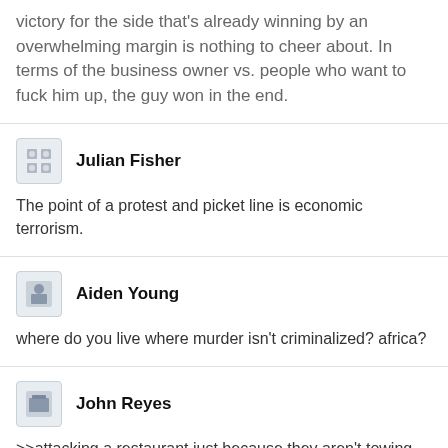victory for the side that's already winning by an overwhelming margin is nothing to cheer about. In terms of the business owner vs. people who want to fuck him up, the guy won in the end.
Julian Fisher
The point of a protest and picket line is economic terrorism.
Aiden Young
where do you live where murder isn't criminalized? africa?
John Reyes
>>attacking a restaurant just because they aren't towing your vegan line